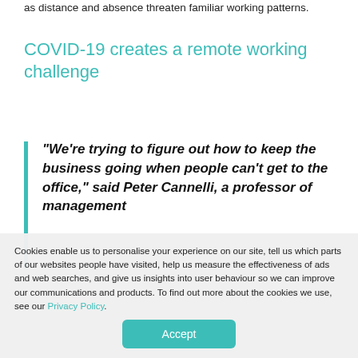as distance and absence threaten familiar working patterns.
COVID-19 creates a remote working challenge
“We’re trying to figure out how to keep the business going when people can’t get to the office,” said Peter Cannelli, a professor of management
Cookies enable us to personalise your experience on our site, tell us which parts of our websites people have visited, help us measure the effectiveness of ads and web searches, and give us insights into user behaviour so we can improve our communications and products. To find out more about the cookies we use, see our Privacy Policy.